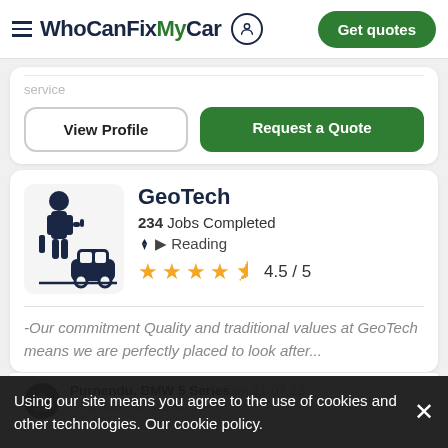WhoCanFixMyCar — Get quotes
service
View Profile
Request a Quote
GeoTech
234 Jobs Completed
Reading
4.5 / 5
-Our commitment Quality and traditional values at GeoTech means we are perfectly placed to look after...
Purnendu, BMW 5 Series on 11.07.22
Using our site means you agree to the use of cookies and other technologies. Our cookie policy.